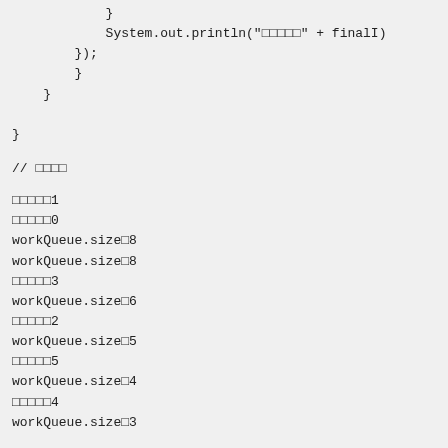}
            System.out.println("□□□□□" + finalI)
        });
        }
    }

}
// □□□□
□□□□□1
□□□□□0
workQueue.size□8
workQueue.size□8
□□□□□3
workQueue.size□6
□□□□□2
workQueue.size□5
□□□□□5
workQueue.size□4
□□□□□4
workQueue.size□3